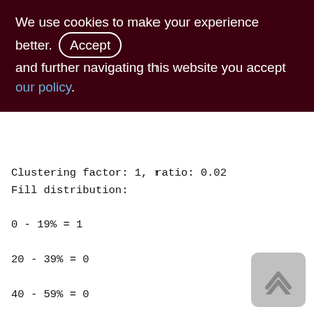We use cookies to make your experience better. By accepting and further navigating this website you accept our policy.
Clustering factor: 1, ratio: 0.02
Fill distribution:
0 - 19% = 1
20 - 39% = 0
40 - 59% = 0
60 - 79% = 0
80 - 99% = 0

Index AGENTS_IS_SUPPLIER (3)
Root page: 326, depth: 1, leaf buckets: 1, nodes: 50
Average node length: 3.08, total dup: 48, max dup: 45